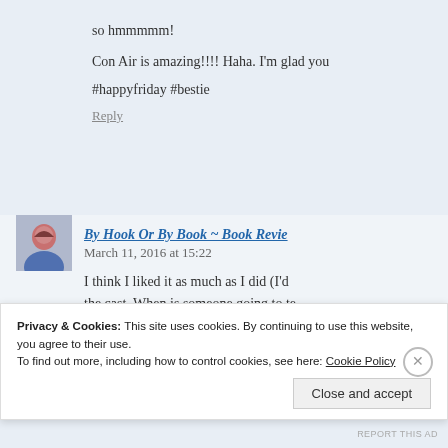so hmmmmm!
Con Air is amazing!!!! Haha. I'm glad you
#happyfriday #bestie
Reply
By Hook Or By Book ~ Book Revie
March 11, 2016 at 15:22
I think I liked it as much as I did (I'd the cast. When is someone going to te action hero? 🙂
Privacy & Cookies: This site uses cookies. By continuing to use this website, you agree to their use.
To find out more, including how to control cookies, see here: Cookie Policy
Close and accept